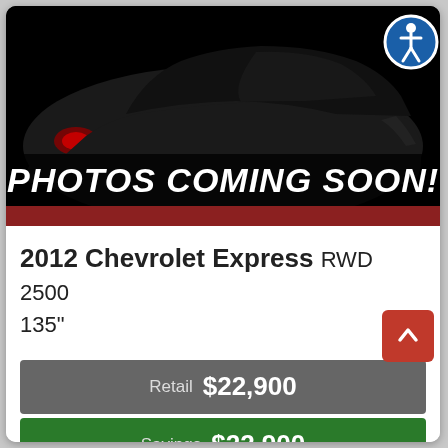[Figure (photo): Dark silhouette of a car on black background with red tail light hint, with 'PHOTOS COMING SOON!' text overlay in white bold italic, and a red horizontal bar below. Accessibility icon (blue circle with white person figure) in top right.]
2012 Chevrolet Express RWD 2500 135"
Retail  $22,900
Savings  $22,900
Text Us